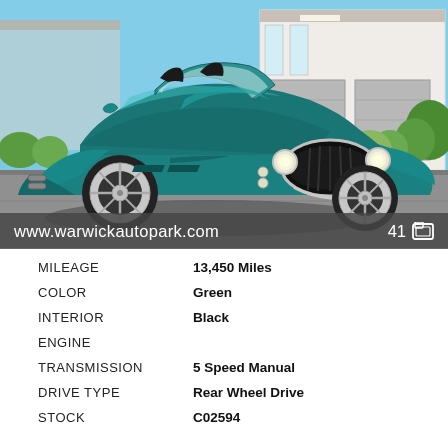[Figure (photo): A teal/green classic Shelby Cobra roadster parked in front of a dealership building with garage doors. The car has chrome wheels, an open top, and chrome front grille surround. Blue sky background with trees and shrubs visible.]
www.warwickautopark.com    41 🖼
| Attribute | Value |
| --- | --- |
| MILEAGE | 13,450 Miles |
| COLOR | Green |
| INTERIOR | Black |
| ENGINE |  |
| TRANSMISSION | 5 Speed Manual |
| DRIVE TYPE | Rear Wheel Drive |
| STOCK | C02594 |